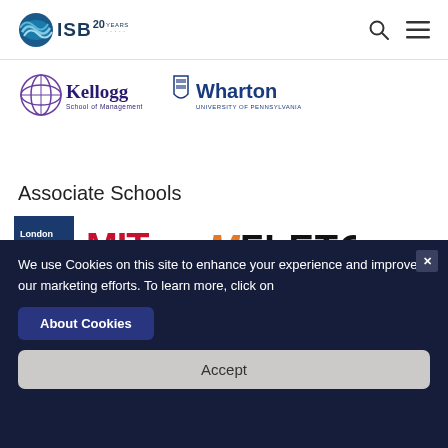[Figure (logo): ISB 20 Years logo in header]
[Figure (logo): Kellogg School of Management logo]
[Figure (logo): Wharton University of Pennsylvania logo]
Associate Schools
[Figure (logo): London Business School logo]
[Figure (logo): MIT Management Sloan School logo]
[Figure (logo): Fletcher school logo]
We use Cookies on this site to enhance your experience and improve our marketing efforts. To learn more, click on
About Cookies
Accept